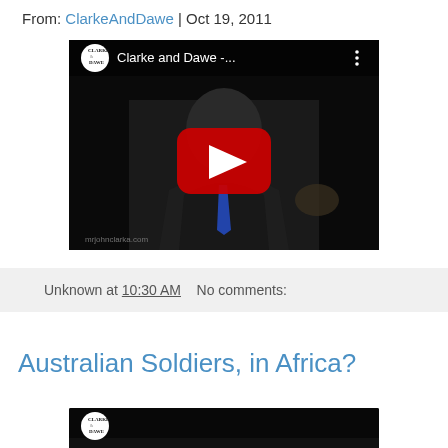From: ClarkeAndDawe | Oct 19, 2011
[Figure (screenshot): YouTube video thumbnail showing Clarke and Dawe with play button overlay. Title shows 'Clarke and Dawe -...' with Clarke and Dawe logo circle. Man in suit visible with red YouTube play button. Watermark: mrjohnclarka.com]
Unknown at 10:30 AM   No comments:
Australian Soldiers, in Africa?
[Figure (screenshot): Partial YouTube video thumbnail at bottom of page, partially cropped]